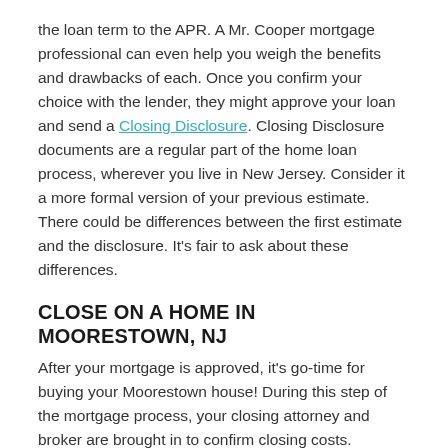the loan term to the APR. A Mr. Cooper mortgage professional can even help you weigh the benefits and drawbacks of each. Once you confirm your choice with the lender, they might approve your loan and send a Closing Disclosure. Closing Disclosure documents are a regular part of the home loan process, wherever you live in New Jersey. Consider it a more formal version of your previous estimate. There could be differences between the first estimate and the disclosure. It's fair to ask about these differences.
CLOSE ON A HOME IN MOORESTOWN, NJ
After your mortgage is approved, it's go-time for buying your Moorestown house! During this step of the mortgage process, your closing attorney and broker are brought in to confirm closing costs. Depending on your location, you might have to bring in a Moorestown closing attorney to be there when you sign your loan docs. Even if paperwork takes longer than expected, you don't have to stress over your closing date being delayed. We guarantee we'll close your loan on time, or your first month's mortgage payment (principal + interest) is on us*.
You're in the home stretch once you've signed the documents!